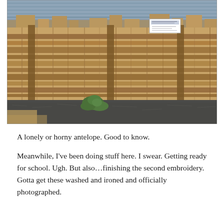[Figure (photo): Outdoor photo of a tall wooden fence with horizontal rail panels and vertical posts. Behind the fence is a grey/blue metal structure. In the foreground is a small green shrub growing among dark gravel or mulch. A small white sign is visible in the upper right area of the fence.]
A lonely or horny antelope. Good to know.
Meanwhile, I've been doing stuff here. I swear. Getting ready for school. Ugh. But also…finishing the second embroidery. Gotta get these washed and ironed and officially photographed.